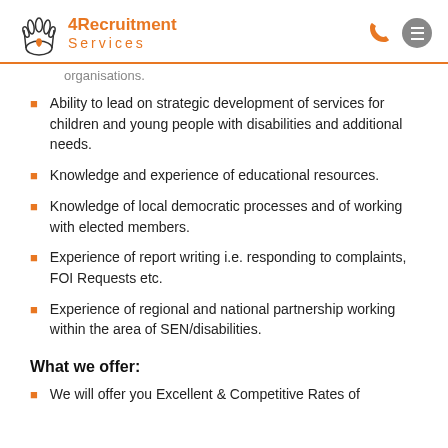4Recruitment Services
organisations.
Ability to lead on strategic development of services for children and young people with disabilities and additional needs.
Knowledge and experience of educational resources.
Knowledge of local democratic processes and of working with elected members.
Experience of report writing i.e. responding to complaints, FOI Requests etc.
Experience of regional and national partnership working within the area of SEN/disabilities.
What we offer:
We will offer you Excellent & Competitive Rates of